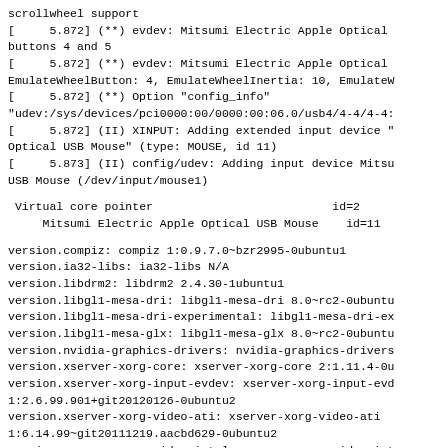scrollwheel support
[     5.872] (**) evdev: Mitsumi Electric Apple Optical buttons 4 and 5
[     5.872] (**) evdev: Mitsumi Electric Apple Optical EmulateWheelButton: 4, EmulateWheelInertia: 10, EmulateW
[     5.872] (**) Option "config_info"
"udev:/sys/devices/pci0000:00/0000:00:06.0/usb4/4-4/4-4:
[     5.872] (II) XINPUT: Adding extended input device "
Optical USB Mouse" (type: MOUSE, id 11)
[     5.873] (II) config/udev: Adding input device Mitsu
USB Mouse (/dev/input/mouse1)
Virtual core pointer                          id=2
     Mitsumi Electric Apple Optical USB Mouse    id=11
version.compiz: compiz 1:0.9.7.0~bzr2995-0ubuntu1
version.ia32-libs: ia32-libs N/A
version.libdrm2: libdrm2 2.4.30-1ubuntu1
version.libgl1-mesa-dri: libgl1-mesa-dri 8.0~rc2-0ubuntu
version.libgl1-mesa-dri-experimental: libgl1-mesa-dri-ex
version.libgl1-mesa-glx: libgl1-mesa-glx 8.0~rc2-0ubuntu
version.nvidia-graphics-drivers: nvidia-graphics-drivers
version.xserver-xorg-core: xserver-xorg-core 2:1.11.4-0u
version.xserver-xorg-input-evdev: xserver-xorg-input-evd
1:2.6.99.901+git20120126-0ubuntu2
version.xserver-xorg-video-ati: xserver-xorg-video-ati
1:6.14.99~git20111219.aacbd629-0ubuntu2
version.xserver-xorg-video-intel: xserver-xorg-video-int
version.xserver-xorg-video-nouveau: xserver-xorg-video-n
1:0.0.16+git20111201+b5534a1-1build2